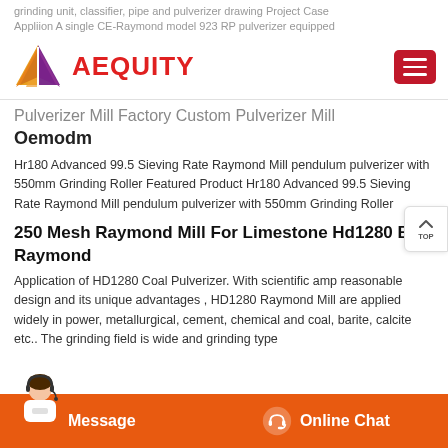grinding unit, classifier, pipe and pulverizer drawing Project Case Appliion A single CE-Raymond model 923 RP pulverizer equipped
[Figure (logo): AEQUITY logo with colorful diamond/arrow icon and red text, plus red hamburger menu button on right]
Pulverizer Mill Factory Custom Pulverizer Mill Oemodm
Hr180 Advanced 99.5 Sieving Rate Raymond Mill pendulum pulverizer with 550mm Grinding Roller Featured Product Hr180 Advanced 99.5 Sieving Rate Raymond Mill pendulum pulverizer with 550mm Grinding Roller
250 Mesh Raymond Mill For Limestone Hd1280 Buy Raymond
Application of HD1280 Coal Pulverizer. With scientific amp reasonable design and its unique advantages , HD1280 Raymond Mill are applied widely in power, metallurgical, cement, chemical and coal, barite, calcite etc.. The grinding field is wide and grinding type